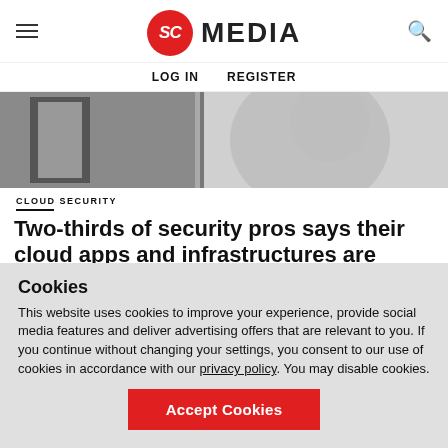SC MEDIA | LOG IN   REGISTER
[Figure (photo): Close-up blurred photo showing a person and glass/reflective surface in black and white tones]
CLOUD SECURITY
Two-thirds of security pros says their cloud apps and infrastructures are vulnerable
Cookies
This website uses cookies to improve your experience, provide social media features and deliver advertising offers that are relevant to you. If you continue without changing your settings, you consent to our use of cookies in accordance with our privacy policy. You may disable cookies.
Accept Cookies